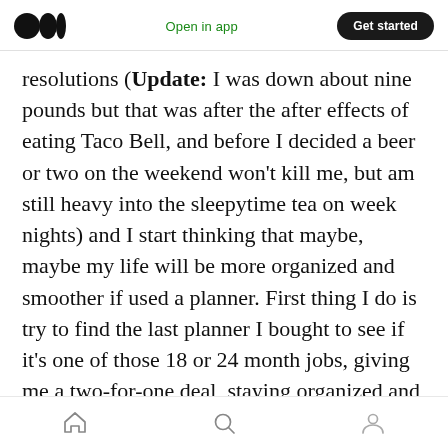Medium logo | Open in app | Get started
resolutions (Update: I was down about nine pounds but that was after the after effects of eating Taco Bell, and before I decided a beer or two on the weekend won't kill me, but am still heavy into the sleepytime tea on week nights) and I start thinking that maybe, maybe my life will be more organized and smoother if used a planner. First thing I do is try to find the last planner I bought to see if it's one of those 18 or 24 month jobs, giving me a two-for-one deal, staying organized and being frugal.
The last planner I bought was from when I
Home | Search | Profile